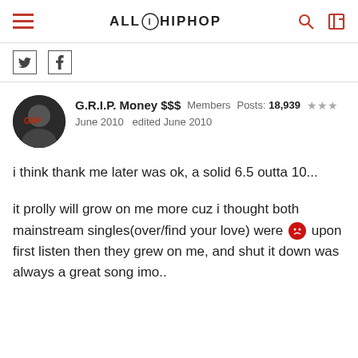ALL HIPHOP
G.R.I.P. Money $$$  Members  Posts: 18,939  ★★★
June 2010  edited June 2010
i think thank me later was ok, a solid 6.5 outta 10...

it prolly will grow on me more cuz i thought both mainstream singles(over/find your love) were 😡 upon first listen then they grew on me, and shut it down was always a great song imo..